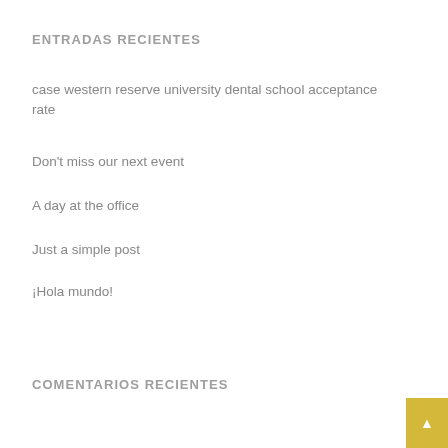ENTRADAS RECIENTES
case western reserve university dental school acceptance rate
Don’t miss our next event
A day at the office
Just a simple post
¡Hola mundo!
COMENTARIOS RECIENTES